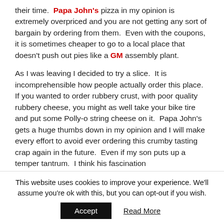their time.  Papa John's pizza in my opinion is extremely overpriced and you are not getting any sort of bargain by ordering from them.  Even with the coupons, it is sometimes cheaper to go to a local place that doesn't push out pies like a GM assembly plant.
As I was leaving I decided to try a slice.  It is incomprehensible how people actually order this place.  If you wanted to order rubbery crust, with poor quality rubbery cheese, you might as well take your bike tire and put some Polly-o string cheese on it.  Papa John's gets a huge thumbs down in my opinion and I will make every effort to avoid ever ordering this crumby tasting crap again in the future.  Even if my son puts up a temper tantrum.  I think his fascination
This website uses cookies to improve your experience. We'll assume you're ok with this, but you can opt-out if you wish.
Accept   Read More